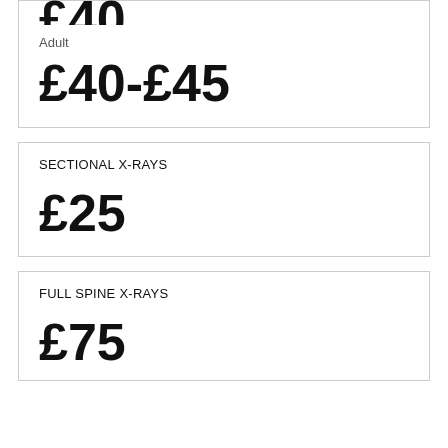Adult
£40-£45
SECTIONAL X-RAYS
£25
FULL SPINE X-RAYS
£75